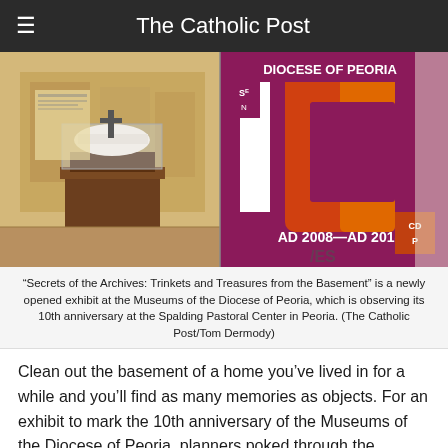The Catholic Post
[Figure (photo): Left half: museum display case on a wooden pedestal with artifacts and a cross, interior exhibit room. Right half: Diocese of Peoria 10th anniversary logo with large '10' in red, maroon, and orange, text reading 'DIOCESE OF PEORIA', 'SE N', 'AD 2008 — AD 2018', and 'CD P' logo.]
"Secrets of the Archives: Trinkets and Treasures from the Basement" is a newly opened exhibit at the Museums of the Diocese of Peoria, which is observing its 10th anniversary at the Spalding Pastoral Center in Peoria. (The Catholic Post/Tom Dermody)
Clean out the basement of a home you've lived in for a while and you'll find as many memories as objects. For an exhibit to mark the 10th anniversary of the Museums of the Diocese of Peoria, planners poked through the diocesan archives in the basement of the Spalding Pastoral Center and found memories — [...]